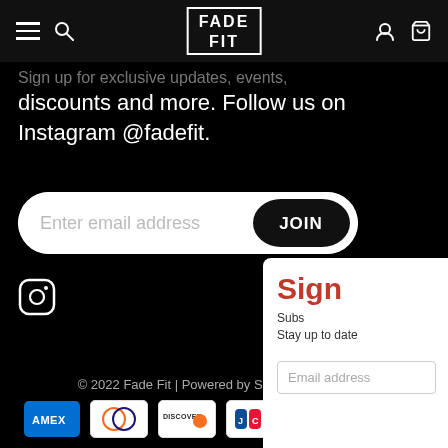Fade Fit — navigation header with hamburger menu, search, logo, account and cart icons
Sign up for exclusive updates, events, discounts and more. Follow us on Instagram @fadefit.
[Figure (screenshot): Email signup form with text input 'Enter email address' and black JOIN button, on black background]
[Figure (logo): Instagram icon (rounded square outline with circle) in white on black background]
© 2022 Fade Fit | Powered by Shopify
[Figure (other): Payment method icons: American Express, Diners Club, Discover, JCB, Mastercard]
[Figure (screenshot): Popup panel with red 'Sign' heading, 'Subscribe' text, 'Stay up to date' text, and email address input field]